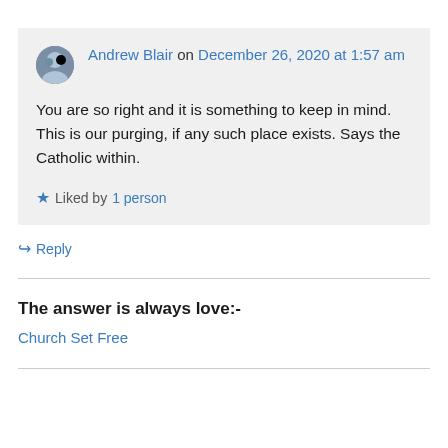Andrew Blair on December 26, 2020 at 1:57 am
You are so right and it is something to keep in mind. This is our purging, if any such place exists. Says the Catholic within.
★ Liked by 1 person
↪ Reply
The answer is always love:-
Church Set Free